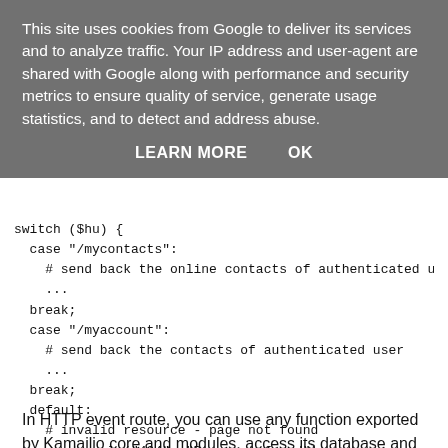This site uses cookies from Google to deliver its services and to analyze traffic. Your IP address and user-agent are shared with Google along with performance and security metrics to ensure quality of service, generate usage statistics, and to detect and address abuse.
LEARN MORE    OK
switch ($hu) {
  case "/mycontacts":
    # send back the online contacts of authenticated user
    ...
  break;
  case "/myaccount":
    # send back the contacts of authenticated user
    ...
  break;
  default:
    # invalid resource - page not found
    send_reply("404", "Page not found");
    exit;
}
In HTTP event route, you can use any function exported by Kamailio core and modules, access its database and